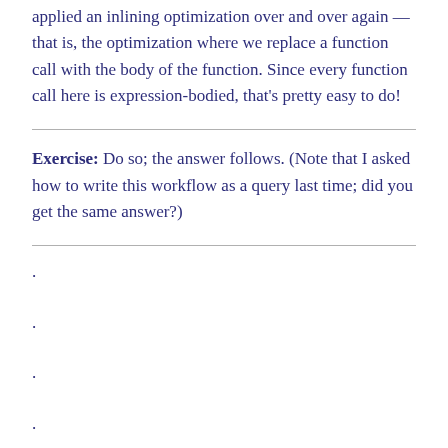applied an inlining optimization over and over again — that is, the optimization where we replace a function call with the body of the function. Since every function call here is expression-bodied, that's pretty easy to do!
Exercise: Do so; the answer follows. (Note that I asked how to write this workflow as a query last time; did you get the same answer?)
.
.
.
.
What would come out the other end of repeated inlining is: